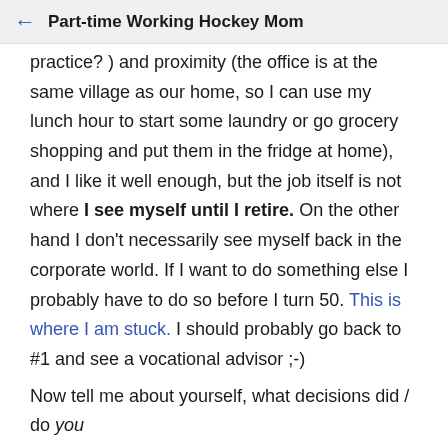Part-time Working Hockey Mom
practice? ) and proximity (the office is at the same village as our home, so I can use my lunch hour to start some laundry or go grocery shopping and put them in the fridge at home), and I like it well enough, but the job itself is not where I see myself until I retire. On the other hand I don't necessarily see myself back in the corporate world. If I want to do something else I probably have to do so before I turn 50. This is where I am stuck. I should probably go back to #1 and see a vocational advisor ;-)
Now tell me about yourself, what decisions did / do you